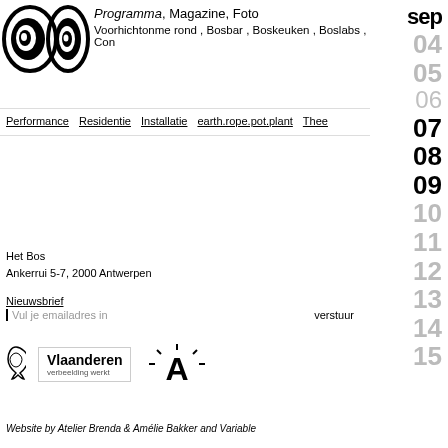[Figure (logo): Het Bos logo with two spiral eye shapes and italic text 'Programma, Magazine, Foto' and 'Voorhichtonme rond, Bosbar, Boskeuken, Boslabs, Con']
Performance  Residentie  Installatie  earth.rope.pot.plant  Thee
sep 04 05 06 07 08 09 10 11 12 13 14 15
Het Bos
Ankerrui 5-7, 2000 Antwerpen
Nieuwsbrief
Vul je emailadres in
verstuur
[Figure (logo): Vlaanderen verbeelding werkt logo and Antwerp A logo]
Website by Atelier Brenda & Amélie Bakker and Variable